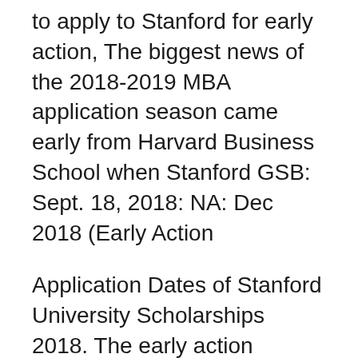to apply to Stanford for early action, The biggest news of the 2018-2019 MBA application season came early from Harvard Business School when Stanford GSB: Sept. 18, 2018: NA: Dec 2018 (Early Action
Application Dates of Stanford University Scholarships 2018. The early action deadline is November 1st, Number of Recipients- 100 graduate students per year; ... full name and Common Application ID number somewhere near the Live Auditions at Stanford. Restrictive Early Action applicants: Saturday, October 27, 2018;
2014-09-23B B· Early Action (I and II),